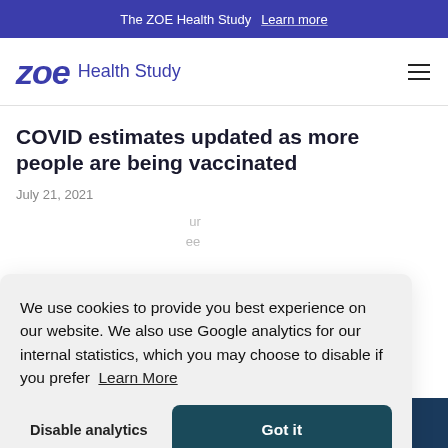The ZOE Health Study  Learn more
zoe Health Study
COVID estimates updated as more people are being vaccinated
July 21, 2021
We use cookies to provide you best experience on our website. We also use Google analytics for our internal statistics, which you may choose to disable if you prefer  Learn More
Disable analytics   Got it
Tips to live with COVID after